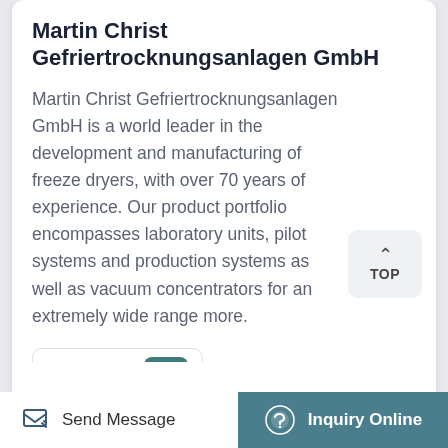Martin Christ Gefriertrocknungsanlagen GmbH
Martin Christ Gefriertrocknungsanlagen GmbH is a world leader in the development and manufacturing of freeze dryers, with over 70 years of experience. Our product portfolio encompasses laboratory units, pilot systems and production systems as well as vacuum concentrators for an extremely wide range more.
[Figure (other): TOP navigation button with upward caret arrow]
Get Price
Send Message   Inquiry Online